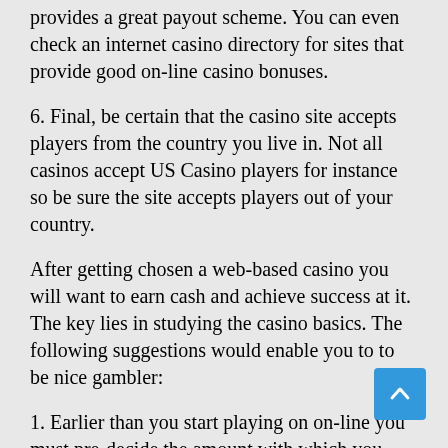provides a great payout scheme. You can even check an internet casino directory for sites that provide good on-line casino bonuses.
6. Final, be certain that the casino site accepts players from the country you live in. Not all casinos accept US Casino players for instance so be sure the site accepts players out of your country.
After getting chosen a web-based casino you will want to earn cash and achieve success at it. The key lies in studying the casino basics. The following suggestions would enable you to to be nice gambler:
1. Earlier than you start playing on on-line you must pre-decide the amount with which you would play. Efficient cash management is the most fundamental tip to be a aggressive gambler. If you happen to set a limit for yourself you will lose less